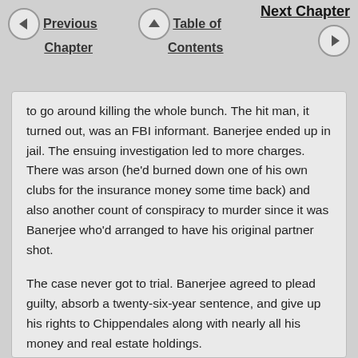Previous Chapter | Table of Contents | Next Chapter
to go around killing the whole bunch. The hit man, it turned out, was an FBI informant. Banerjee ended up in jail. The ensuing investigation led to more charges. There was arson (he'd burned down one of his own clubs for the insurance money some time back) and also another count of conspiracy to murder since it was Banerjee who'd arranged to have his original partner shot.
The case never got to trial. Banerjee agreed to plead guilty, absorb a twenty-six-year sentence, and give up his rights to Chippendales along with nearly all his money and real estate holdings.
While the lawyers worked out the details, Banerjee's wife Irene worked feverishly to organize a group of character